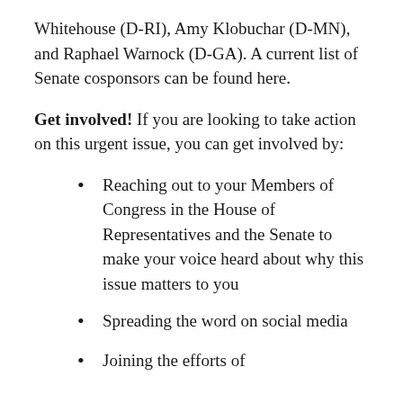Whitehouse (D-RI), Amy Klobuchar (D-MN), and Raphael Warnock (D-GA). A current list of Senate cosponsors can be found here.
Get involved! If you are looking to take action on this urgent issue, you can get involved by:
Reaching out to your Members of Congress in the House of Representatives and the Senate to make your voice heard about why this issue matters to you
Spreading the word on social media
Joining the efforts of